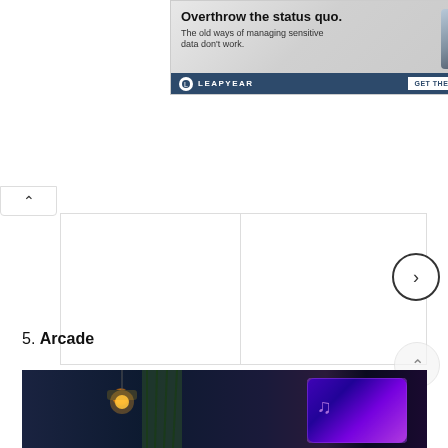[Figure (screenshot): Advertisement banner for LEAPYEAR with headline 'Overthrow the status quo.' and subtext 'The old ways of managing sensitive data don't work.' with a portrait image and footer showing LEAPYEAR brand and 'GET THE HANDBOOK' CTA button.]
[Figure (screenshot): Web UI carousel area showing two blank white card slots with info (i) icons below each, a next arrow button on the right, and a collapse button on the upper left.]
5. Arcade
[Figure (photo): Bottom portion of a dark arcade or entertainment venue photo showing dim interior with a warm light source and neon signage in purple/blue on the right.]